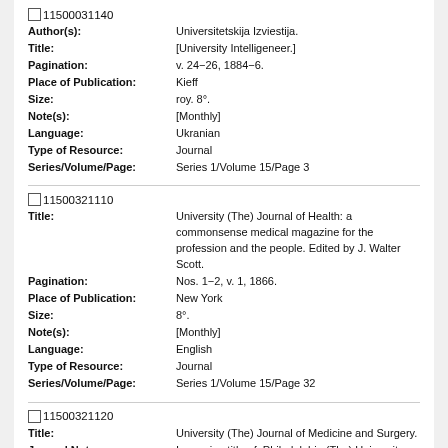11500031140
Author(s): Universitetskija Izviestija.
Title: [University Intelligeneer.]
Pagination: v. 24-26, 1884-6.
Place of Publication: Kieff
Size: roy. 8°.
Note(s): [Monthly]
Language: Ukranian
Type of Resource: Journal
Series/Volume/Page: Series 1/Volume 15/Page 3
11500321110
Title: University (The) Journal of Health: a commonsense medical magazine for the profession and the people. Edited by J. Walter Scott.
Pagination: Nos. 1-2, v. 1, 1866.
Place of Publication: New York
Size: 8°.
Note(s): [Monthly]
Language: English
Type of Resource: Journal
Series/Volume/Page: Series 1/Volume 15/Page 32
11500321120
Title: University (The) Journal of Medicine and Surgery.
Journal Note: Is running title of: Philadelphia (The) University Journal of Medicine and Surgery.
Language: English
Type of Resource: Journal
Series/Volume/Page: Series 1/Volume 15/Page 32